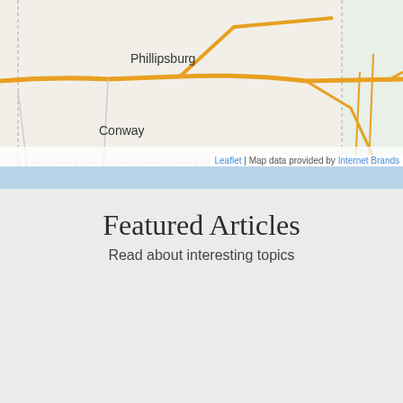[Figure (map): Street map showing Phillipsburg and Conway, with roads and dashed boundary lines. Attribution: Leaflet | Map data provided by Internet Brands.]
Featured Articles
Read about interesting topics
[Figure (photo): Close-up photo of a cat covering its face with its paw, gray tabby cat.]